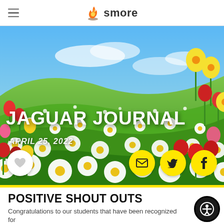smore
[Figure (photo): Hero banner image of a spring flower field with tulips, daisies, and daffodils under a blue sky, with 'JAGUAR JOURNAL' title and 'APRIL 25, 2022' date overlay, and social sharing buttons (heart, email, Twitter, Facebook)]
JAGUAR JOURNAL
APRIL 25, 2022
POSITIVE SHOUT OUTS
Congratulations to our students that have been recognized for